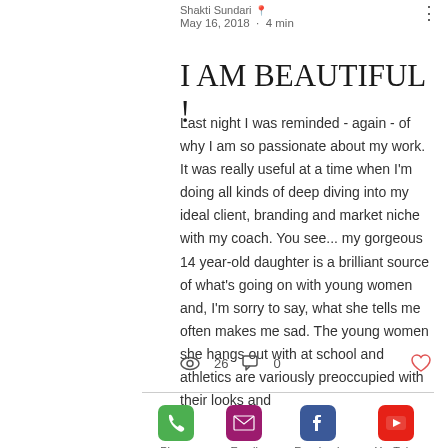Shakti Sundari · May 16, 2018 · 4 min
I AM BEAUTIFUL !
Last night I was reminded - again - of why I am so passionate about my work. It was really useful at a time when I'm doing all kinds of deep diving into my ideal client, branding and market niche with my coach. You see... my gorgeous 14 year-old daughter is a brilliant source of what's going on with young women and, I'm sorry to say, what she tells me often makes me sad. The young women she hangs out with at school and athletics are variously preoccupied with their looks and
26 views · 0 comments · Phone · Email · Facebook · YouTube